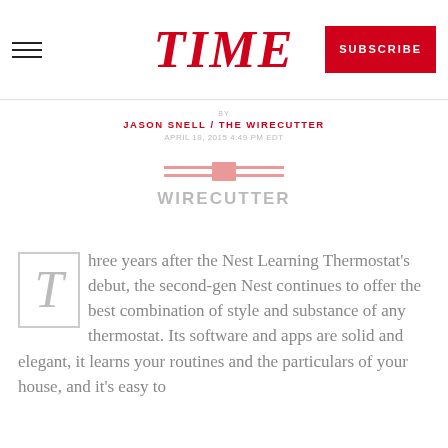TIME — SUBSCRIBE
BY JASON SNELL / THE WIRECUTTER
APRIL 18, 2015 4:49 PM EDT
[Figure (logo): The Wirecutter logo — horizontal text logo with stylized double-bar icon above 'WIRECUTTER']
Three years after the Nest Learning Thermostat's debut, the second-gen Nest continues to offer the best combination of style and substance of any thermostat. Its software and apps are solid and elegant, it learns your routines and the particulars of your house, and it's easy to